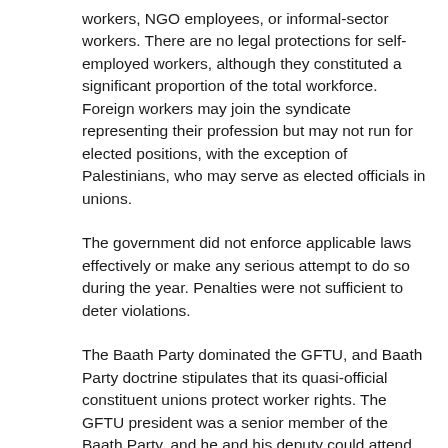workers, NGO employees, or informal-sector workers. There are no legal protections for self-employed workers, although they constituted a significant proportion of the total workforce. Foreign workers may join the syndicate representing their profession but may not run for elected positions, with the exception of Palestinians, who may serve as elected officials in unions.
The government did not enforce applicable laws effectively or make any serious attempt to do so during the year. Penalties were not sufficient to deter violations.
The Baath Party dominated the GFTU, and Baath Party doctrine stipulates that its quasi-official constituent unions protect worker rights. The GFTU president was a senior member of the Baath Party, and he and his deputy could attend cabinet meetings on economic affairs. In previous years the GFTU controlled most aspects of union activity, including which sectors or industries could have unions. It also had the power to disband unions, a power including...